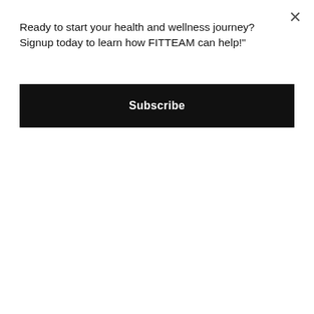Ready to start your health and wellness journey? Signup today to learn how FITTEAM can help!"
Subscribe
• Rule #10 – “Have Fun and Enjoy the Ride” – When work is fun you don’t get tired. Do you ever remember getting tired when you were playing as a kid? I don’t either. It never even came to mind. The same is true when you are energized by doing work that matters with people you like.
Cited from Jon Gordon Energy Bus
TAGS: BOOK OF THE MONTH